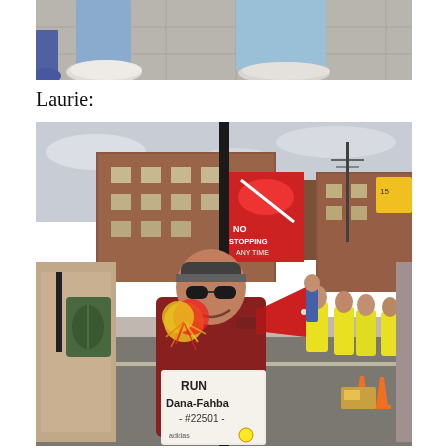[Figure (photo): Close-up photo of a person's legs in blue jeans and white sneakers standing on a tiled sidewalk]
Laurie:
[Figure (photo): Outdoor photo of a woman smiling, holding a megaphone and colorful pom-poms, wearing sunglasses and a red jacket, holding a sign that reads 'RUN Dana-Fahba - #22501 -' with Adidas and Boston Marathon logos, standing on a street near a 'No Stopping' sign with spectators and yellow-vested volunteers in the background]